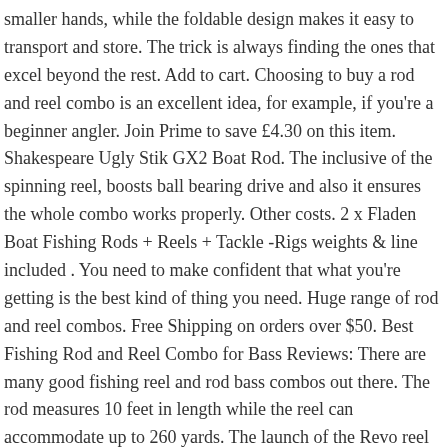smaller hands, while the foldable design makes it easy to transport and store. The trick is always finding the ones that excel beyond the rest. Add to cart. Choosing to buy a rod and reel combo is an excellent idea, for example, if you're a beginner angler. Join Prime to save £4.30 on this item. Shakespeare Ugly Stik GX2 Boat Rod. The inclusive of the spinning reel, boosts ball bearing drive and also it ensures the whole combo works properly. Other costs. 2 x Fladen Boat Fishing Rods + Reels + Tackle -Rigs weights & line included . You need to make confident that what you're getting is the best kind of thing you need. Huge range of rod and reel combos. Free Shipping on orders over $50. Best Fishing Rod and Reel Combo for Bass Reviews: There are many good fishing reel and rod bass combos out there. The rod measures 10 feet in length while the reel can accommodate up to 260 yards. The launch of the Revo reel in 2006 once again changed the face of reel production as we know it. Best Seller in Surf Fishing Combos. Rod and Reel Combos - Fishing Tackle Shop is far and away one of the largest online